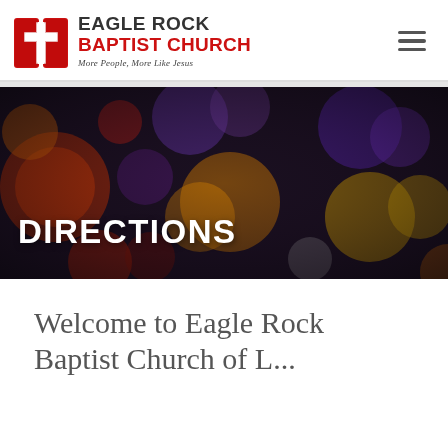[Figure (logo): Eagle Rock Baptist Church logo with red book/cross icon and church name text]
[Figure (photo): Hero banner image with bokeh bokeh dark background with colorful blurred circles (red, orange, yellow, purple, white) and white bold text reading DIRECTIONS]
Welcome to Eagle Rock Baptist Church of L...